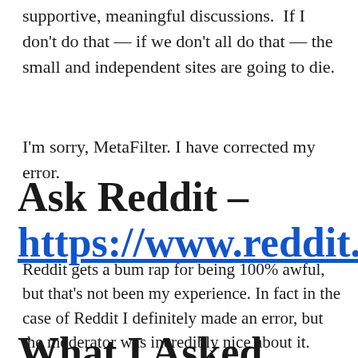supportive, meaningful discussions.  If I don't do that — if we don't all do that — the small and independent sites are going to die.
I'm sorry, MetaFilter. I have corrected my error.
Ask Reddit – https://www.reddit.c
Reddit gets a bum rap for being 100% awful, but that's not been my experience. In fact in the case of Reddit I definitely made an error, but the moderator was incredibly nice about it.
What I Asked